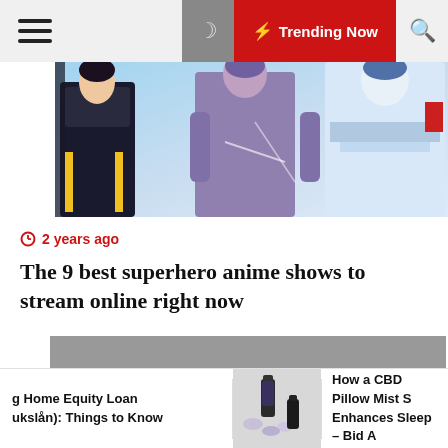≡  ☽  ⚡ Trending Now  🔍
[Figure (illustration): Anime superhero characters illustration — dark-costumed figure on left, purple/grey figure in center, white and blue armored figure on right, against a blue sky background]
2 years ago
The 9 best superhero anime shows to stream online right now
[Figure (other): Gray advertisement placeholder block]
g Home Equity Loan
ukslån): Things to Know
[Figure (photo): Small product photo showing CBD oil bottle and supplements]
How a CBD Pillow Mist S Enhances Sleep – Bid A